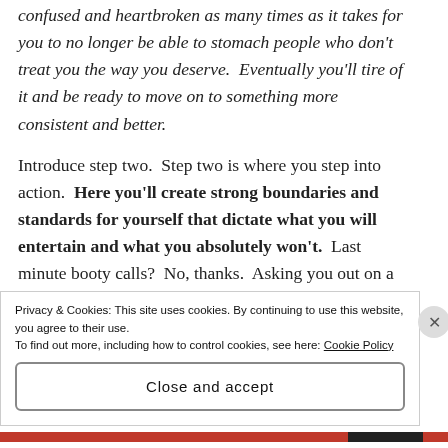confused and heartbroken as many times as it takes for you to no longer be able to stomach people who don't treat you the way you deserve.  Eventually you'll tire of it and be ready to move on to something more consistent and better.
Introduce step two.  Step two is where you step into action.  Here you'll create strong boundaries and standards for yourself that dictate what you will entertain and what you absolutely won't.  Last minute booty calls?  No, thanks.  Asking you out on a proper date, showing up on time, and consistently
Privacy & Cookies: This site uses cookies. By continuing to use this website, you agree to their use.
To find out more, including how to control cookies, see here: Cookie Policy
Close and accept